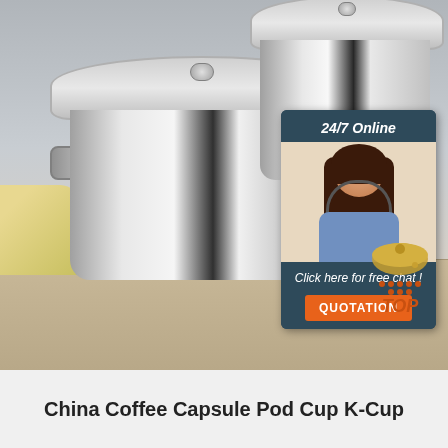[Figure (photo): Product photo of two stainless steel stock pots with glass lids on a wooden table surface, with vegetables visible on the left side. Overlaid with a 24/7 Online chat widget featuring a customer service representative wearing a headset, a 'Click here for free chat!' message, and an orange QUOTATION button. A red/orange 'TOP' logo appears in the lower right of the image.]
China Coffee Capsule Pod Cup K-Cup